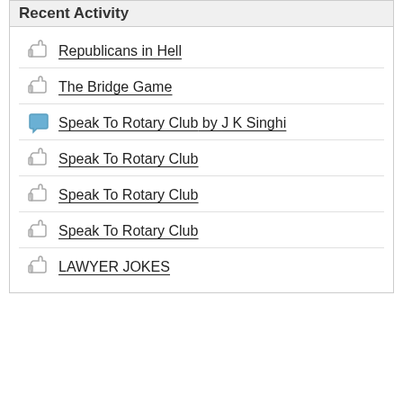Recent Activity
Republicans in Hell
The Bridge Game
Speak To Rotary Club by J K Singhi
Speak To Rotary Club
Speak To Rotary Club
Speak To Rotary Club
LAWYER JOKES